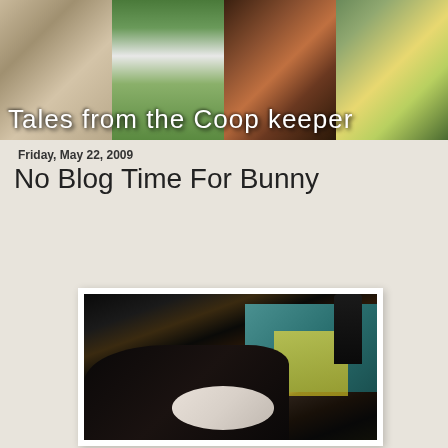[Figure (photo): Blog header banner collage with four photo panels showing: grain/seeds in a bowl, a white house with green lawn, chickens/hens, and yellow flowers in a garden. White handwritten-style text overlay reads 'Tales from the Coop Keeper']
Friday, May 22, 2009
No Blog Time For Bunny
[Figure (photo): Close-up photo of a black and white bunny rabbit with a prominent dark ear visible, against a teal/green background with yellow elements]